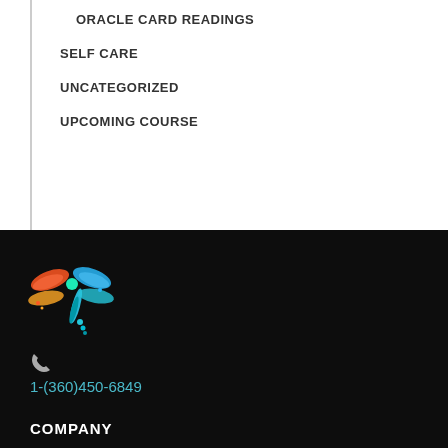ORACLE CARD READINGS
SELF CARE
UNCATEGORIZED
UPCOMING COURSE
[Figure (logo): Colorful dragonfly logo with vibrant blue, orange, red and teal colors on black background]
1-(360)450-6849
COMPANY